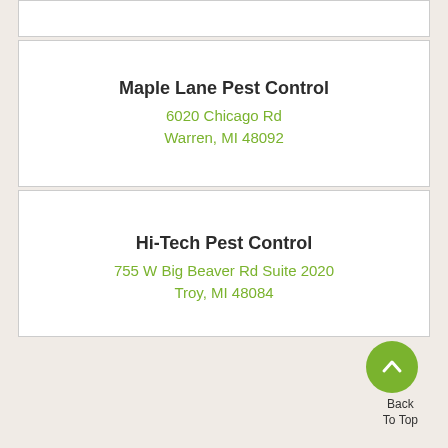Maple Lane Pest Control
6020 Chicago Rd
Warren, MI 48092
Hi-Tech Pest Control
755 W Big Beaver Rd Suite 2020
Troy, MI 48084
Back
To Top
Nearby Cities